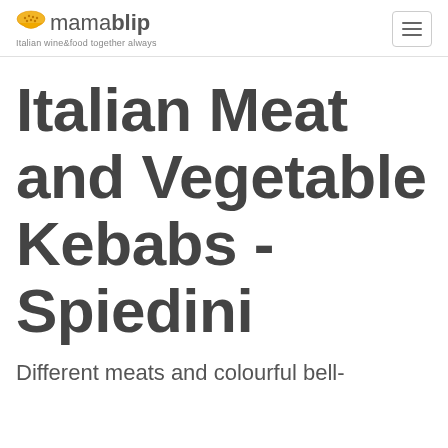[Figure (logo): Mamablip logo: yellow bowl icon followed by 'mamablip' text in gray, with tagline 'Italian wine&food together always' below]
Italian Meat and Vegetable Kebabs - Spiedini
Different meats and colourful bell-